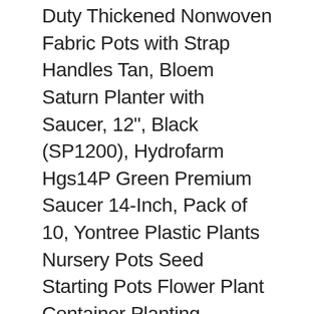Duty Thickened Nonwoven Fabric Pots with Strap Handles Tan, Bloem Saturn Planter with Saucer, 12", Black (SP1200), Hydrofarm Hgs14P Green Premium Saucer 14-Inch, Pack of 10, Yontree Plastic Plants Nursery Pots Seed Starting Pots Flower Plant Container Planting Pots,100 Pack (6"×15cm), Pack of 7 Plastic Hanging Rattan Planter, Self-Watering Round Hanging Basket, Plant Herb Orchid Flower Pot,Blooms Container for Home Office Garden Balcony Wall Pergola Fences Indoor Outdoor Decoratio, CDN$ 20.16 for shipping & import fees deposit, Youngever 8 Pack 5.5 Inch Plastic Planters Indoor Flower Plant Pots, Modern Decorative Gardening Pot with Drainage for All Home, Plants, Flowers, Herbs, Succulents and